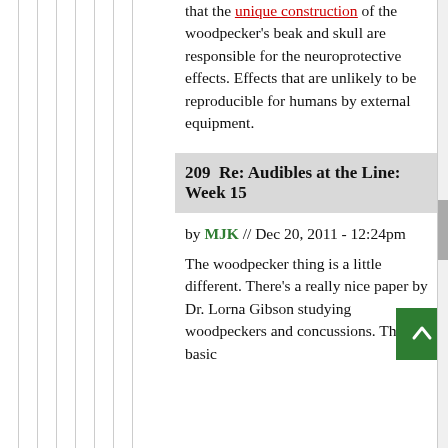that the unique construction of the woodpecker's beak and skull are responsible for the neuroprotective effects. Effects that are unlikely to be reproducible for humans by external equipment.
209  Re: Audibles at the Line: Week 15
by MJK // Dec 20, 2011 - 12:24pm
The woodpecker thing is a little different. There's a really nice paper by Dr. Lorna Gibson studying woodpeckers and concussions. The basic